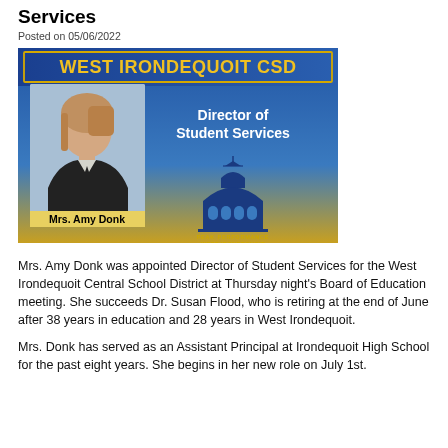Services
Posted on 05/06/2022
[Figure (infographic): West Irondequoit CSD announcement card showing Mrs. Amy Donk appointed as Director of Student Services, with her photo on the left and the school district logo on the right against a blue and gold gradient background.]
Mrs. Amy Donk was appointed Director of Student Services for the West Irondequoit Central School District at Thursday night's Board of Education meeting. She succeeds Dr. Susan Flood, who is retiring at the end of June after 38 years in education and 28 years in West Irondequoit.
Mrs. Donk has served as an Assistant Principal at Irondequoit High School for the past eight years. She begins in her new role on July 1st.